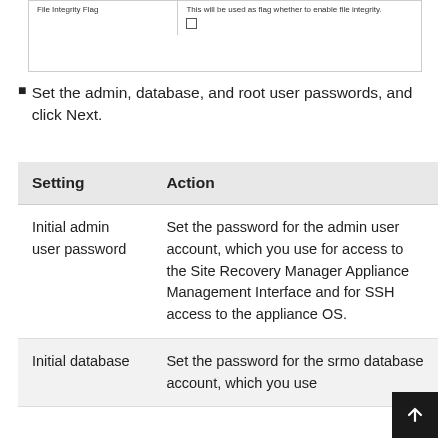[Figure (screenshot): Partial table fragment showing 'File Integrity Flag' row with description 'This will be used as flag whether to enable file integrity.' and an unchecked checkbox below.]
Set the admin, database, and root user passwords, and click Next.
| Setting | Action |
| --- | --- |
| Initial admin user password | Set the password for the admin user account, which you use for access to the Site Recovery Manager Appliance Management Interface and for SSH access to the appliance OS. |
| Initial database | Set the password for the srmo database account, which you use |